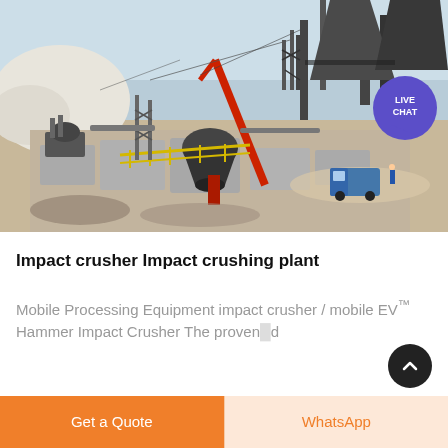[Figure (photo): Aerial view of a large industrial impact crushing plant / quarry facility with heavy machinery, cranes (including a red crane), conveyor structures, yellow walkways, a blue truck, and workers visible. A 'LIVE CHAT' speech bubble badge is overlaid in the upper-right area of the photo.]
Impact crusher Impact crushing plant
Mobile Processing Equipment impact crusher / mobile EV™ Hammer Impact Crusher The proven...